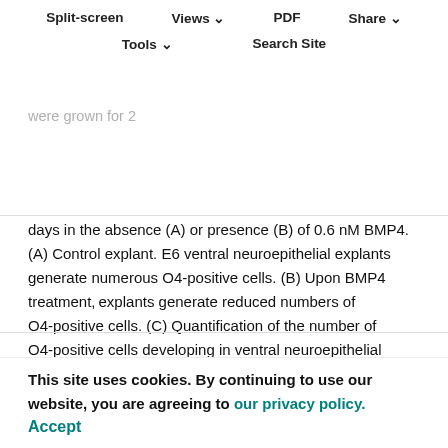Split-screen   Views ∨   PDF   Share ∨   Tools ∨   Search Site
BMP4 effect on E6 neuroepithelial explants. Ventral neuroepithelial explants were dissected from E6 embryos, i.e. just after oligodendrocyte induction has occurred. They were grown for 2 days in the absence (A) or presence (B) of 0.6 nM BMP4. (A) Control explant. E6 ventral neuroepithelial explants generate numerous O4-positive cells. (B) Upon BMP4 treatment, explants generate reduced numbers of O4-positive cells. (C) Quantification of the number of O4-positive cells developing in ventral neuroepithelial explants. Bars represent the mean±s.e.m. of at least 17 separate explants. At this stage, BMP4 treatment does not totally block O4-positive cell production.
Taken together, our data indicate that BMP4 completely
blocks the specification of ventral neuroepithelial cells by Shh, but does not change the fate of already-committed precursors, confirming that this protein mainly acts at the early steps of the specification of the lineage.
This site uses cookies. By continuing to use our website, you are agreeing to our privacy policy.
Accept